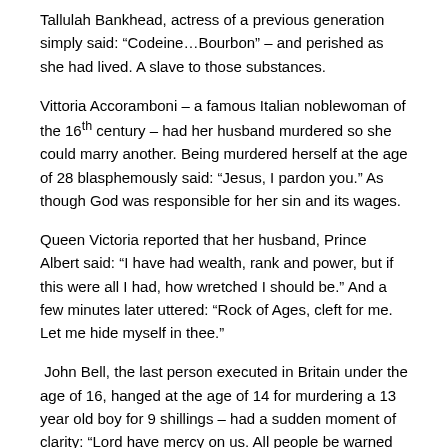Tallulah Bankhead, actress of a previous generation simply said: “Codeine…Bourbon” – and perished as she had lived. A slave to those substances.
Vittoria Accoramboni – a famous Italian noblewoman of the 16th century – had her husband murdered so she could marry another. Being murdered herself at the age of 28 blasphemously said: “Jesus, I pardon you.” As though God was responsible for her sin and its wages.
Queen Victoria reported that her husband, Prince Albert said: “I have had wealth, rank and power, but if this were all I had, how wretched I should be.” And a few minutes later uttered: “Rock of Ages, cleft for me. Let me hide myself in thee.”
John Bell, the last person executed in Britain under the age of 16, hanged at the age of 14 for murdering a 13 year old boy for 9 shillings – had a sudden moment of clarity: “Lord have mercy on us. All people be warned by me.”